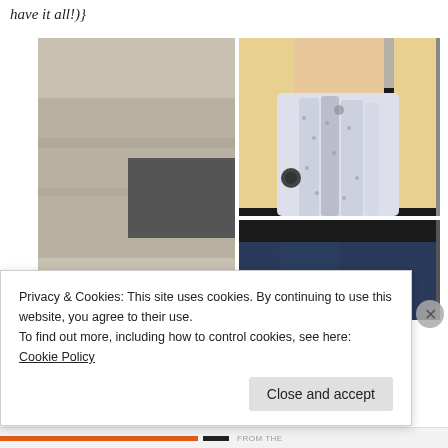have it all!)}
[Figure (photo): Left: A blonde woman wearing sunglasses, a black cardigan, and a white/grey patterned scarf, sitting outdoors. Right top: Close-up of the same woman showing the scarf detail around the neck. Right bottom: Partial lower body shot showing jeans.]
Privacy & Cookies: This site uses cookies. By continuing to use this website, you agree to their use.
To find out more, including how to control cookies, see here: Cookie Policy
Close and accept